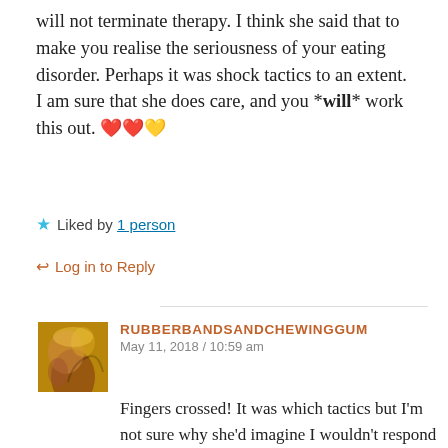will not terminate therapy. I think she said that to make you realise the seriousness of your eating disorder. Perhaps it was shock tactics to an extent. I am sure that she does care, and you *will* work this out. ❤️❤️💛
★ Liked by 1 person
↩ Log in to Reply
RUBBERBANDSANDCHEWINGGUM
May 11, 2018 / 10:59 am
Fingers crossed! It was which tactics but I'm not sure why she'd imagine I wouldn't respond positively to her expressing concern and then working together to create a safety net. She knows I've been controlled and coerced by my mother and this felt like I was in familiar territory. Thank goodness it worked out by the end but